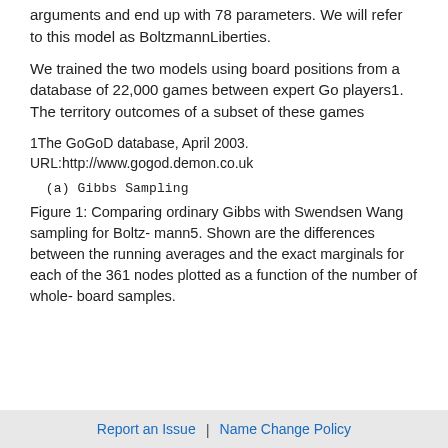arguments and end up with 78 parameters. We will refer to this model as BoltzmannLiberties.
We trained the two models using board positions from a database of 22,000 games between expert Go players1. The territory outcomes of a subset of these games
1The GoGoD database, April 2003. URL:http://www.gogod.demon.co.uk
(a) Gibbs Sampling    (b)
Figure 1: Comparing ordinary Gibbs with Swendsen Wang sampling for Boltz- mann5. Shown are the differences between the running averages and the exact marginals for each of the 361 nodes plotted as a function of the number of whole- board samples.
Report an Issue  |  Name Change Policy